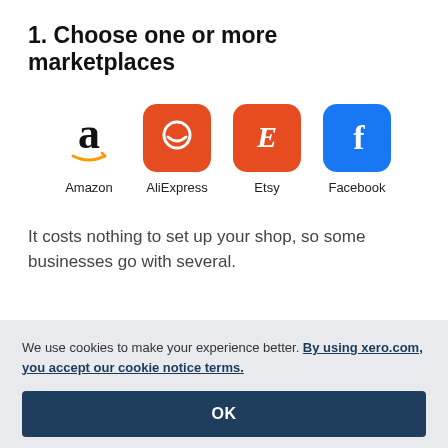1. Choose one or more marketplaces
[Figure (logo): Four marketplace logos in a row: Amazon, AliExpress, Etsy, Facebook — each with label beneath]
It costs nothing to set up your shop, so some businesses go with several.
We use cookies to make your experience better. By using xero.com, you accept our cookie notice terms.
OK